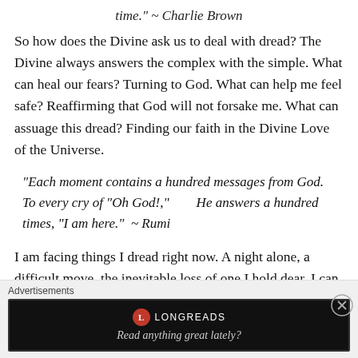time." ~ Charlie Brown
So how does the Divine ask us to deal with dread? The Divine always answers the complex with the simple. What can heal our fears? Turning to God. What can help me feel safe? Reaffirming that God will not forsake me. What can assuage this dread? Finding our faith in the Divine Love of the Universe.
“Each moment contains a hundred messages from God. To every cry of “Oh God!,”        He answers a hundred times, “I am here.”  ~ Rumi
I am facing things I dread right now. A night alone, a difficult move, the inevitable loss of one I hold dear. I can obsess about these things, I can focus on the
[Figure (infographic): Advertisement banner: Longreads logo with tagline 'Read anything great lately?' on dark background. Close button (X) in circle on the right.]